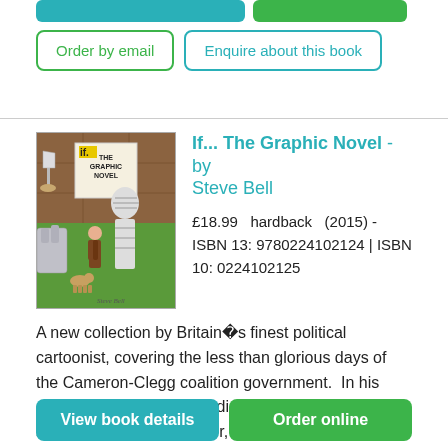[Figure (illustration): Book cover for 'If... The Graphic Novel' by Steve Bell, showing cartoon characters including a mummy-wrapped figure and a robot hand, with the title text on the cover.]
If... The Graphic Novel - by Steve Bell
£18.99  hardback  (2015) - ISBN 13: 9780224102124 | ISBN 10: 0224102125
A new collection by Britain's finest political cartoonist, covering the less than glorious days of the Cameron-Clegg coalition government.  In his daily cartoon for the Guardian and his long-running strip, IF, in the same paper, Steve Bell ha ... more